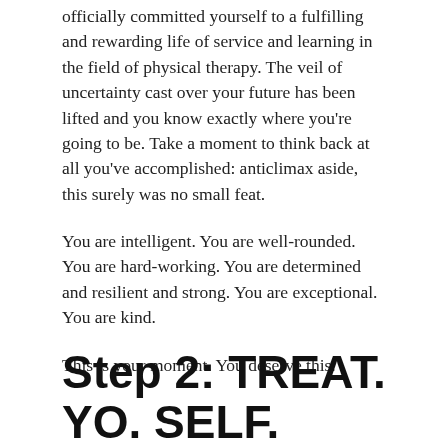officially committed yourself to a fulfilling and rewarding life of service and learning in the field of physical therapy. The veil of uncertainty cast over your future has been lifted and you know exactly where you're going to be. Take a moment to think back at all you've accomplished: anticlimax aside, this surely was no small feat.
You are intelligent. You are well-rounded. You are hard-working. You are determined and resilient and strong. You are exceptional. You are kind.
This is your moment. You deserve this.
Step 2: TREAT. YO. SELF.